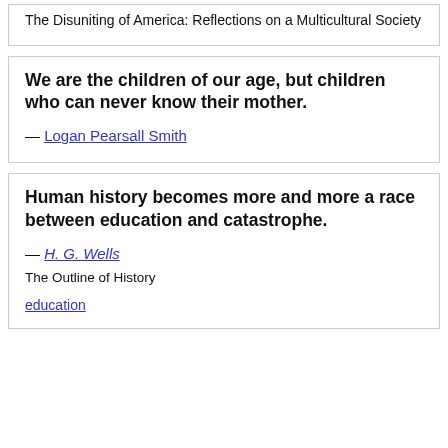The Disuniting of America: Reflections on a Multicultural Society
We are the children of our age, but children who can never know their mother.
— Logan Pearsall Smith
Human history becomes more and more a race between education and catastrophe.
— H. G. Wells
The Outline of History
education